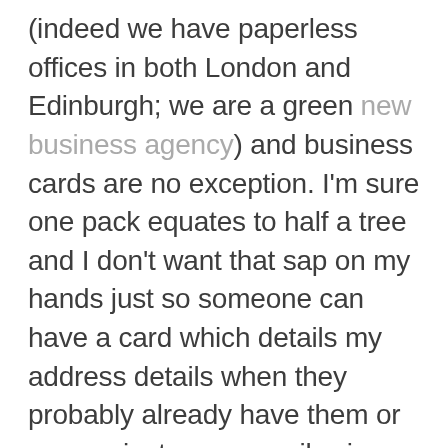(indeed we have paperless offices in both London and Edinburgh; we are a green new business agency) and business cards are no exception. I'm sure one pack equates to half a tree and I don't want that sap on my hands just so someone can have a card which details my address details when they probably already have them or we can just swap emails via our phones.

Don't get me wrong, I'm not refusing to take your card! It's business etiquette and I